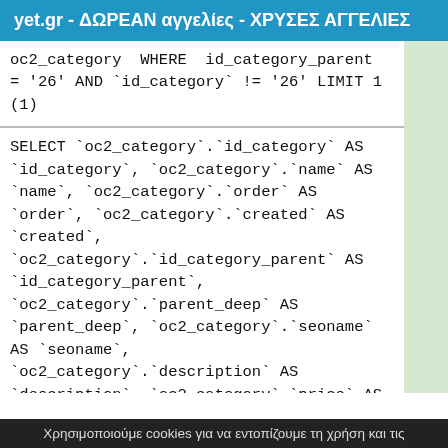yet.gr - ΔΩΡΕΑΝ αγγελίες - ΧΡΥΣΕΣ ΑΓΓΕΛΙΕΣ
oc2_category WHERE id_category_parent = '26' AND `id_category` != '26' LIMIT 1 (1)
SELECT `oc2_category`.`id_category` AS `id_category`, `oc2_category`.`name` AS `name`, `oc2_category`.`order` AS `order`, `oc2_category`.`created` AS `created`, `oc2_category`.`id_category_parent` AS `id_category_parent`, `oc2_category`.`parent_deep` AS `parent_deep`, `oc2_category`.`seoname` AS `seoname`, `oc2_category`.`description` AS `description`, `oc2_category`.`price` AS `price`, `oc2_category`.`last_modified` AS `last_modified`, `oc2_category`.`has_image` AS `has_image` FROM `oc2_categories` AS `oc2_category` WHERE `id_category_parent` =
Χρησιμοποιούμε cookies για να εντοπίζουμε τη χρήση και τις